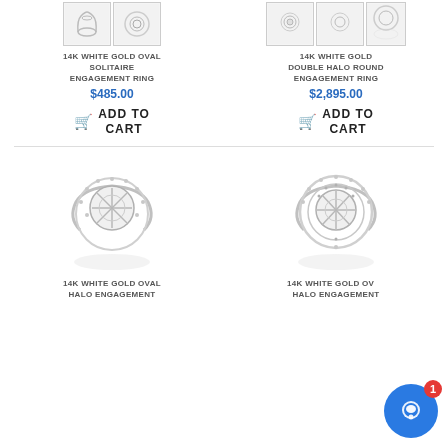[Figure (photo): Two thumbnail images of a 14K white gold oval solitaire engagement ring]
14K WHITE GOLD OVAL SOLITAIRE ENGAGEMENT RING
$485.00
ADD TO CART
[Figure (photo): Three thumbnail images of a 14K white gold double halo round engagement ring with reflection]
14K WHITE GOLD DOUBLE HALO ROUND ENGAGEMENT RING
$2,895.00
ADD TO CART
[Figure (photo): 14K white gold oval halo engagement ring with open center setting and diamond halo, with reflection]
14K WHITE GOLD OVAL HALO ENGAGEMENT
[Figure (photo): 14K white gold oval halo engagement ring with round double halo setting, with reflection and chat widget overlay]
14K WHITE GOLD OVAL HALO ENGAGEMENT